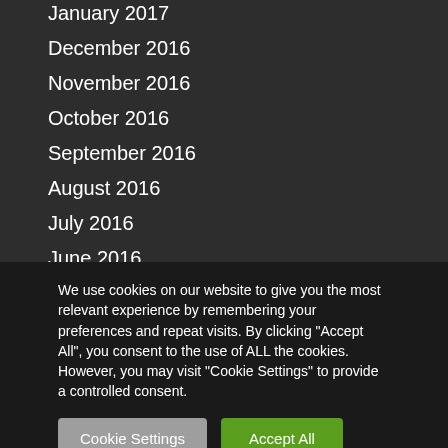January 2017
December 2016
November 2016
October 2016
September 2016
August 2016
July 2016
June 2016
May 2016
We use cookies on our website to give you the most relevant experience by remembering your preferences and repeat visits. By clicking "Accept All", you consent to the use of ALL the cookies. However, you may visit "Cookie Settings" to provide a controlled consent.
Cookie Settings
Accept All